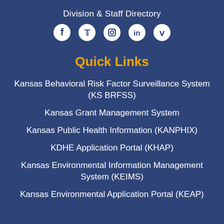Division & Staff Directory
[Figure (infographic): Social media icons: Facebook, Twitter, Instagram, LinkedIn, Vimeo]
Quick Links
Kansas Behavioral Risk Factor Surveillance System (KS BRFSS)
Kansas Grant Management System
Kansas Public Health Information (KANPHIX)
KDHE Application Portal (KHAP)
Kansas Environmental Information Management System (KEIMS)
Kansas Environmental Application Portal (KEAP)